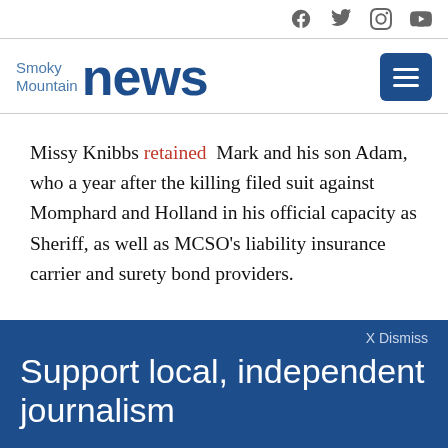Social media icons: Facebook, Twitter, Instagram, YouTube
[Figure (logo): Smoky Mountain News logo with menu button]
Missy Knibbs retained Mark and his son Adam, who a year after the killing filed suit against Momphard and Holland in his official capacity as Sheriff, as well as MCSO's liability insurance carrier and surety bond providers.
X Dismiss
Support local, independent journalism